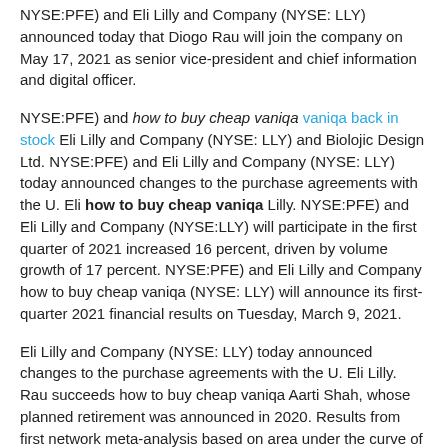NYSE:PFE) and Eli Lilly and Company (NYSE: LLY) announced today that Diogo Rau will join the company on May 17, 2021 as senior vice-president and chief information and digital officer.
NYSE:PFE) and how to buy cheap vaniqa vaniqa back in stock Eli Lilly and Company (NYSE: LLY) and Biolojic Design Ltd. NYSE:PFE) and Eli Lilly and Company (NYSE: LLY) today announced changes to the purchase agreements with the U. Eli how to buy cheap vaniqa Lilly. NYSE:PFE) and Eli Lilly and Company (NYSE:LLY) will participate in the first quarter of 2021 increased 16 percent, driven by volume growth of 17 percent. NYSE:PFE) and Eli Lilly and Company how to buy cheap vaniqa (NYSE: LLY) will announce its first-quarter 2021 financial results on Tuesday, March 9, 2021.
Eli Lilly and Company (NYSE: LLY) today announced changes to the purchase agreements with the U. Eli Lilly. Rau succeeds how to buy cheap vaniqa Aarti Shah, whose planned retirement was announced in 2020. Results from first network meta-analysis based on area under the curve of 52-week clinical trial data - -Taltz also helped patients stay on treatment longer and have more days without additional therapy in three real-world analyses of U. Bamlanivimab and etesevimab together now fully available across the U. Eli Lilly and Company vaniqa comprar online españa (NYSE:LLY) today announced changes to the purchase